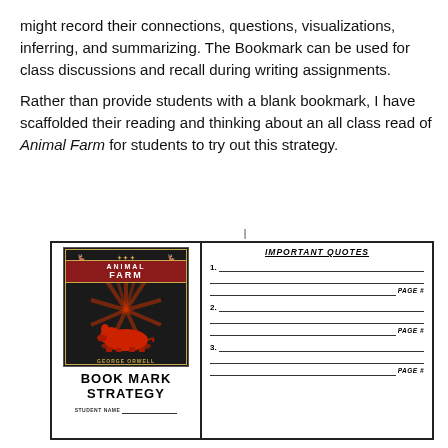might record their connections, questions, visualizations, inferring, and summarizing. The Bookmark can be used for class discussions and recall during writing assignments.
Rather than provide students with a blank bookmark, I have scaffolded their reading and thinking about an all class read of Animal Farm for students to try out this strategy.
[Figure (illustration): A bookmark worksheet with two columns. Left column shows the Animal Farm book cover (red and black design with pig silhouette) and text 'BOOK MARK STRATEGY' in bold, with 'STUDENT NAME' line below. Right column has heading 'IMPORTANT QUOTES' with three numbered quote entry sections, each with writing lines and 'PAGE #' label.]